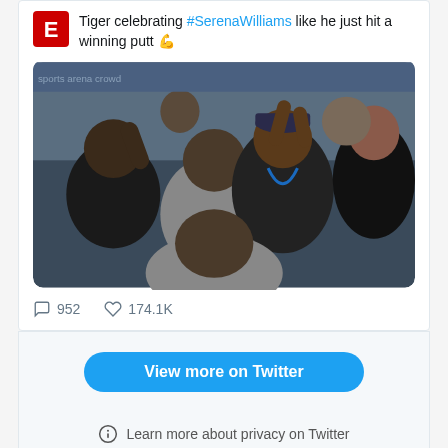Tiger celebrating #SerenaWilliams like he just hit a winning putt 💪
[Figure (photo): Crowd of excited fans at a sports event, including Tiger Woods in the center wearing a cap and blue lanyard, cheering with raised hands and open mouths]
952  174.1K
View more on Twitter
Learn more about privacy on Twitter